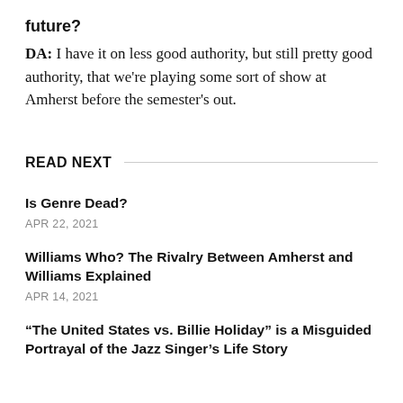future?
DA: I have it on less good authority, but still pretty good authority, that we're playing some sort of show at Amherst before the semester's out.
READ NEXT
Is Genre Dead?
APR 22, 2021
Williams Who? The Rivalry Between Amherst and Williams Explained
APR 14, 2021
“The United States vs. Billie Holiday” is a Misguided Portrayal of the Jazz Singer’s Life Story